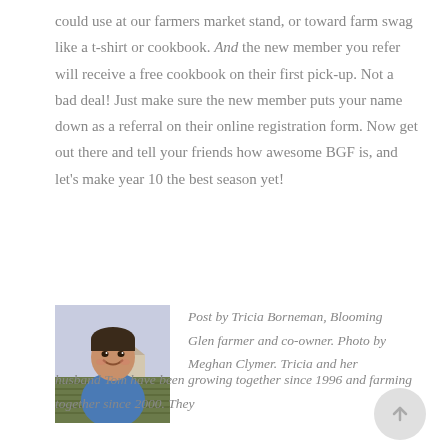could use at our farmers market stand, or toward farm swag like a t-shirt or cookbook. And the new member you refer will receive a free cookbook on their first pick-up. Not a bad deal! Just make sure the new member puts your name down as a referral on their online registration form. Now get out there and tell your friends how awesome BGF is, and let's make year 10 the best season yet!
[Figure (photo): Photo of Tricia Borneman, a smiling woman with short dark hair wearing a blue top, with farm fields visible in the background.]
Post by Tricia Borneman, Blooming Glen farmer and co-owner. Photo by Meghan Clymer. Tricia and her husband Tom have been growing together since 1996 and farming together since 2000. They